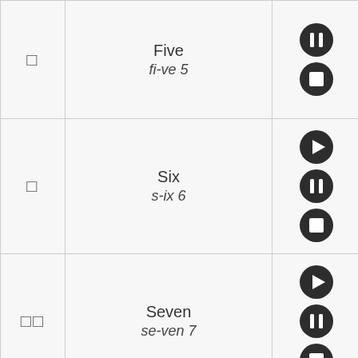| Character | Word | Controls |
| --- | --- | --- |
| □ | Five
fi-ve 5 | play/pause/stop |
| □ | Six
s-ix 6 | play/pause/stop |
| □□ | Seven
se-ven 7 | play/pause/stop |